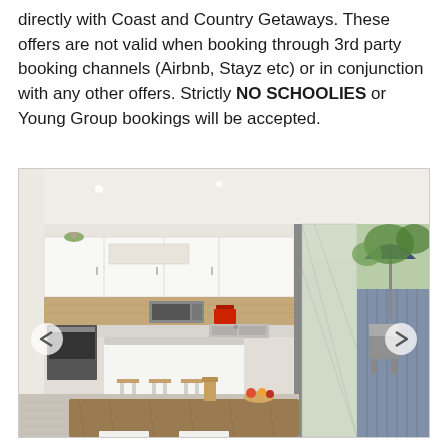directly with Coast and Country Getaways. These offers are not valid when booking through 3rd party booking channels (Airbnb, Stayz etc) or in conjunction with any other offers. Strictly NO SCHOOLIES or Young Group bookings will be accepted.
[Figure (photo): Interior photo of a modern open-plan kitchen and dining area. White cabinetry with timber splashback, stainless steel appliances including microwave and oven, white island bench with metallic bar stools, rustic timber dining table in the foreground with chairs, large sliding glass door leading to an outdoor area with garden furniture, umbrella, and fencing. Navigation arrows visible on left and right sides.]